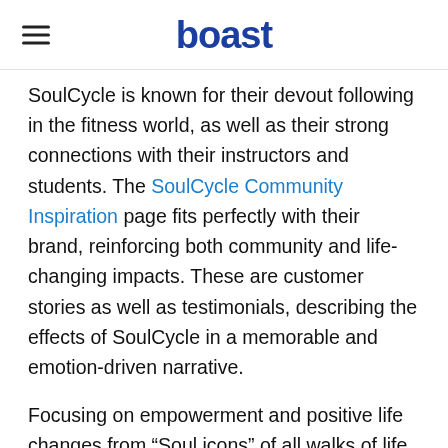boast
SoulCycle is known for their devout following in the fitness world, as well as their strong connections with their instructors and students. The SoulCycle Community Inspiration page fits perfectly with their brand, reinforcing both community and life-changing impacts. These are customer stories as well as testimonials, describing the effects of SoulCycle in a memorable and emotion-driven narrative.
Focusing on empowerment and positive life changes from “Soul icons” of all walks of life, SoulCycle shows what customers can achieve, and also shows that anyone can do it. This is one